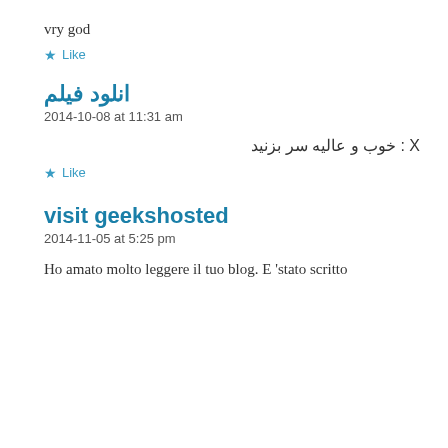vry god
★ Like
انلود فیلم
2014-10-08 at 11:31 am
X : خوب و عاليه سر بزنيد
★ Like
visit geekshosted
2014-11-05 at 5:25 pm
Ho amato molto leggere il tuo blog. E 'stato scritto